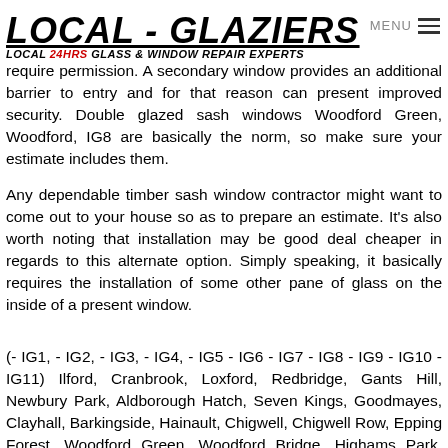LOCAL - GLAZIERS LOCAL 24HRS GLASS & WINDOW REPAIR EXPERTS MENU
require permission. A secondary window provides an additional barrier to entry and for that reason can present improved security. Double glazed sash windows Woodford Green, Woodford, IG8 are basically the norm, so make sure your estimate includes them.
Any dependable timber sash window contractor might want to come out to your house so as to prepare an estimate. It's also worth noting that installation may be good deal cheaper in regards to this alternate option. Simply speaking, it basically requires the installation of some other pane of glass on the inside of a present window.
(- IG1, - IG2, - IG3, - IG4, - IG5 - IG6 - IG7 - IG8 - IG9 - IG10 - IG11) Ilford, Cranbrook, Loxford, Redbridge, Gants Hill, Newbury Park, Aldborough Hatch, Seven Kings, Goodmayes, Clayhall, Barkingside, Hainault, Chigwell, Chigwell Row, Epping Forest, Woodford Green, Woodford Bridge, Highams Park, Waltham